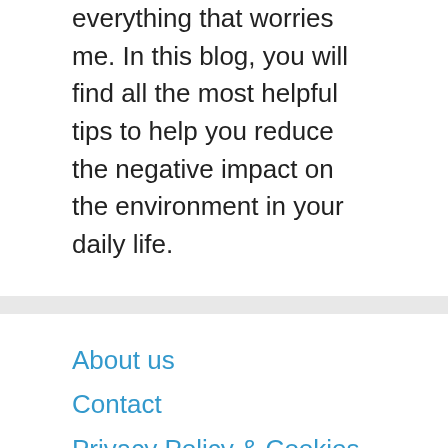everything that worries me. In this blog, you will find all the most helpful tips to help you reduce the negative impact on the environment in your daily life.
About us
Contact
Privacy Policy & Cookies
ATTENTION TO RIGHT HOLDERS! All materials are posted on the site strictly for informational and educational purposes! If you believe that the posting of any material infringes your copyright, be sure to contact us through the contact form and your